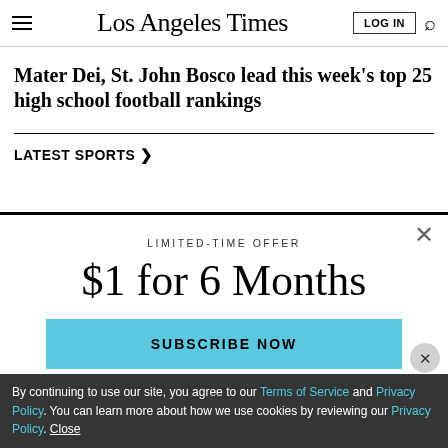Los Angeles Times
Mater Dei, St. John Bosco lead this week's top 25 high school football rankings
LATEST SPORTS
LIMITED-TIME OFFER
$1 for 6 Months
SUBSCRIBE NOW
By continuing to use our site, you agree to our Terms of Service and Privacy Policy. You can learn more about how we use cookies by reviewing our Privacy Policy. Close